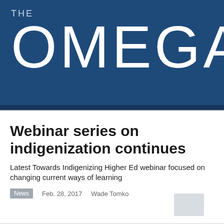THE OMEGA
Webinar series on indigenization continues
Latest Towards Indigenizing Higher Ed webinar focused on changing current ways of learning
News   Feb. 28, 2017   Wade Tomko